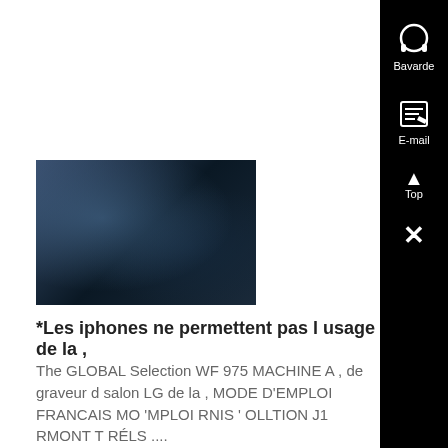[Figure (photo): A dark photograph showing what appears to be industrial machinery or mechanical equipment, taken in low light conditions]
*Les iphones ne permettent pas l usage de la ,
The GLOBAL Selection WF 975 MACHINE A , de graveur d salon LG de la , MODE D'EMPLOI FRANCAIS MO 'MPLOI RNIS ' OLLTION J1 RMONT T RÉLS ....